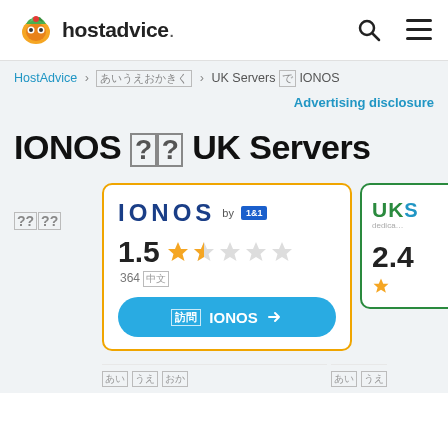hostadvice.
HostAdvice > [breadcrumb] > UK Servers [??] IONOS
Advertising disclosure
IONOS [??] UK Servers
[rank label: ????]
[Figure (screenshot): IONOS hosting card with rating 1.5 stars out of 5, 364 reviews, and a Visit IONOS button in blue]
[Figure (screenshot): UK Servers card partial with rating 2.4, green border]